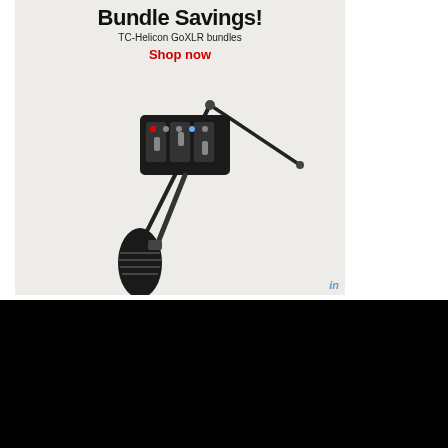[Figure (advertisement): TC-Helicon GoXLR bundle promotion banner with microphone and boom arm on light grey background. Shows text 'Bundle Savings!', 'TC-Helicon GoXLR bundles', 'Shop now' in red, podcast microphone and boom arm illustration, and 'in' logo in bottom right corner.]
Account
Sign Up!
Logout
About